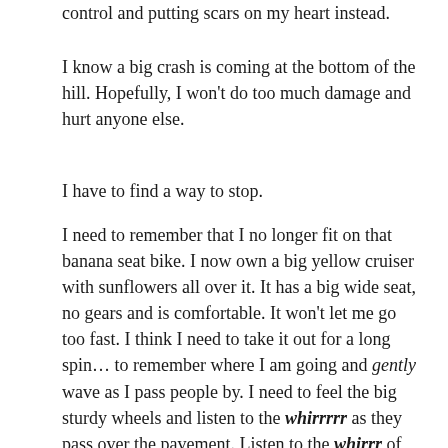control and putting scars on my heart instead.
I know a big crash is coming at the bottom of the hill. Hopefully, I won't do too much damage and hurt anyone else.
I have to find a way to stop.
I need to remember that I no longer fit on that banana seat bike. I now own a big yellow cruiser with sunflowers all over it. It has a big wide seat, no gears and is comfortable. It won't let me go too fast. I think I need to take it out for a long spin… to remember where I am going and gently wave as I pass people by. I need to feel the big sturdy wheels and listen to the whirrrrr as they pass over the pavement. Listen to the whirrr of good friends who are telling me to slow down, pay attention and be better. For them, I am ever grateful.